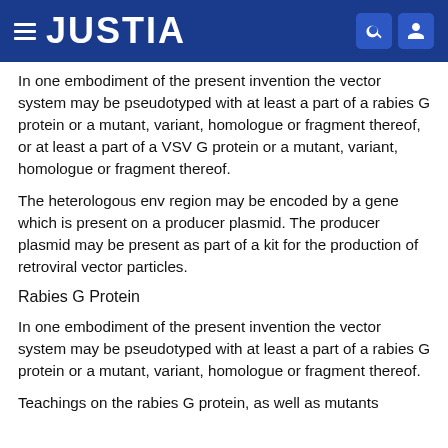JUSTIA
In one embodiment of the present invention the vector system may be pseudotyped with at least a part of a rabies G protein or a mutant, variant, homologue or fragment thereof, or at least a part of a VSV G protein or a mutant, variant, homologue or fragment thereof.
The heterologous env region may be encoded by a gene which is present on a producer plasmid. The producer plasmid may be present as part of a kit for the production of retroviral vector particles.
Rabies G Protein
In one embodiment of the present invention the vector system may be pseudotyped with at least a part of a rabies G protein or a mutant, variant, homologue or fragment thereof.
Teachings on the rabies G protein, as well as mutants